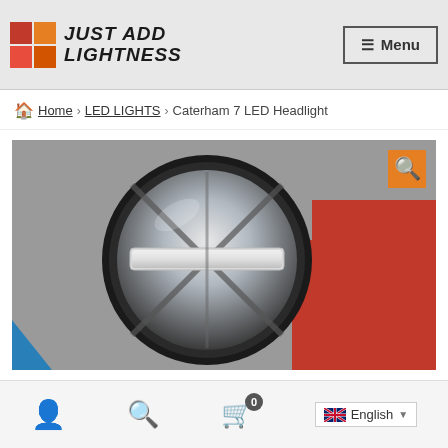[Figure (logo): Just Add Lightness logo with 2x2 red/orange grid and italic bold text]
≡ Menu
🏠 Home › LED LIGHTS › Caterham 7 LED Headlight
[Figure (photo): Close-up photo of a Caterham 7 LED headlight with round black housing and cross LED strip pattern, mounted on a red car body]
0